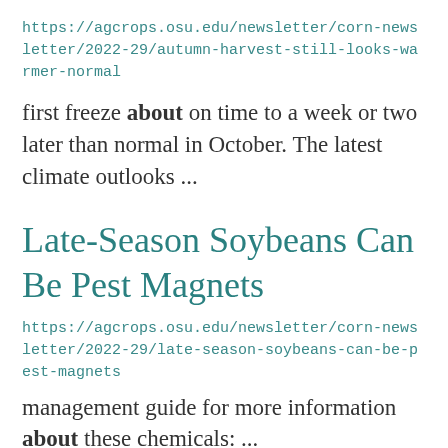https://agcrops.osu.edu/newsletter/corn-newsletter/2022-29/autumn-harvest-still-looks-warmer-normal
first freeze about on time to a week or two later than normal in October. The latest climate outlooks ...
Late-Season Soybeans Can Be Pest Magnets
https://agcrops.osu.edu/newsletter/corn-newsletter/2022-29/late-season-soybeans-can-be-pest-magnets
management guide for more information about these chemicals: ...
Seminar Archive